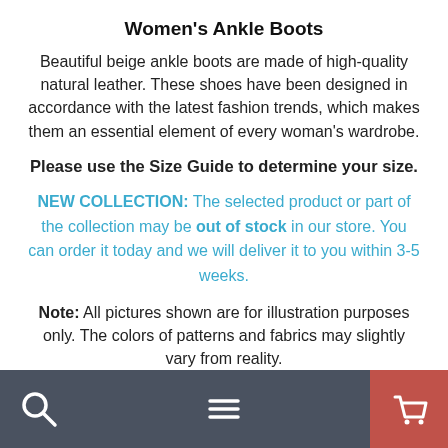Women's Ankle Boots
Beautiful beige ankle boots are made of high-quality natural leather. These shoes have been designed in accordance with the latest fashion trends, which makes them an essential element of every woman's wardrobe.
Please use the Size Guide to determine your size.
NEW COLLECTION: The selected product or part of the collection may be out of stock in our store. You can order it today and we will deliver it to you within 3-5 weeks.
Note: All pictures shown are for illustration purposes only. The colors of patterns and fabrics may slightly vary from reality.
Made in Poland
[navigation bar with search, menu, and cart icons]